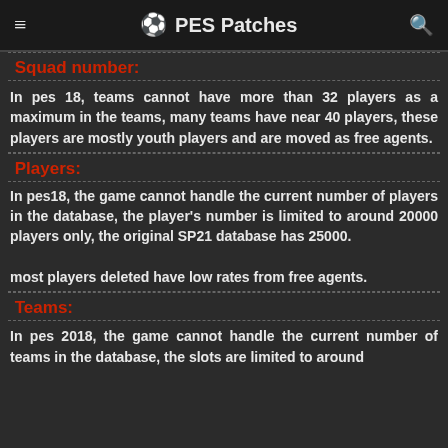≡  ⚽ PES Patches  🔍
Squad number:
In pes 18, teams cannot have more than 32 players as a maximum in the teams, many teams have near 40 players, these players are mostly youth players and are moved as free agents.
Players:
In pes18, the game cannot handle the current number of players in the database, the player's number is limited to around 20000 players only, the original SP21 database has 25000.

most players deleted have low rates from free agents.
Teams:
In pes 2018, the game cannot handle the current number of teams in the database, the slots are limited to around